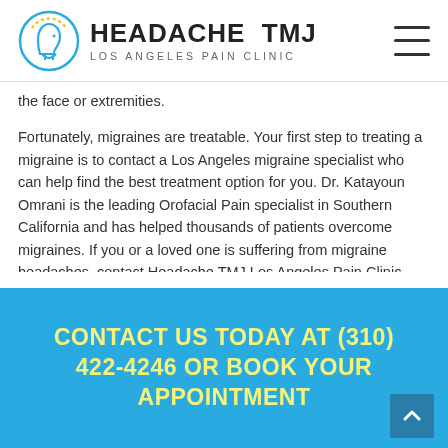[Figure (logo): Headache TMJ Los Angeles Pain Clinic logo with head silhouette icon]
the face or extremities.
Fortunately, migraines are treatable. Your first step to treating a migraine is to contact a Los Angeles migraine specialist who can help find the best treatment option for you. Dr. Katayoun Omrani is the leading Orofacial Pain specialist in Southern California and has helped thousands of patients overcome migraines. If you or a loved one is suffering from migraine headaches, contact Headache TMJ Los Angeles Pain Clinic today to schedule your free consultation.
CONTACT US TODAY AT (310) 422-4246 OR BOOK YOUR APPOINTMENT